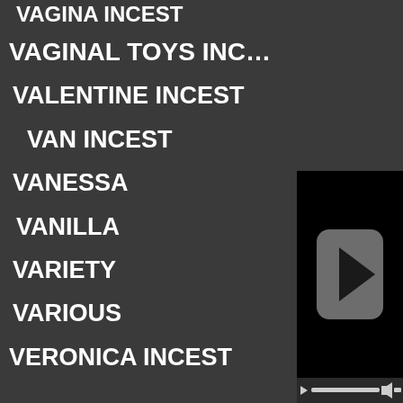VAGINA INCEST
VAGINAL TOYS INC…
VALENTINE INCEST
VAN INCEST
VANESSA
VANILLA
VARIETY
VARIOUS
VERONICA INCEST
[Figure (screenshot): Embedded video player overlay with black background and a gray rounded-rectangle play button (triangle) in the center, and a control bar at the bottom with play, progress bar, volume, and slider controls.]